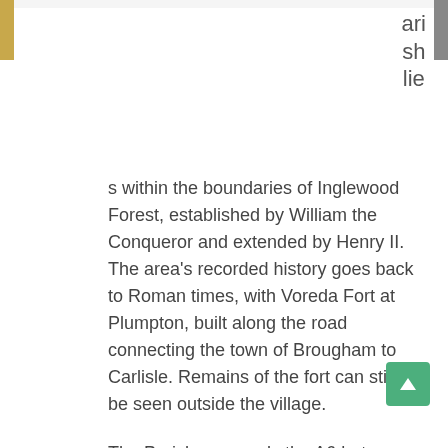ari
sh
lie
s within the boundaries of Inglewood Forest, established by William the Conqueror and extended by Henry II. The area's recorded history goes back to Roman times, with Voreda Fort at Plumpton, built along the road connecting the town of Brougham to Carlisle. Remains of the fort can still be seen outside the village.
The Parish surrounds the A6 between Carlisle and Penrith. Originating from the Roman Road, the A6 went through improvements in the 1930's, including the bypassing of High Hesket village, and was expanded to a dual carriageway in the 1960's.
The Parish's principal industry remains